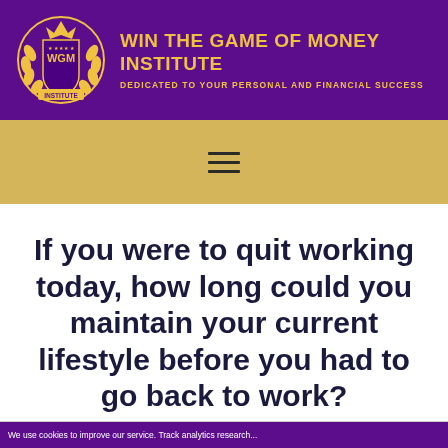[Figure (logo): Win the Game of Money Institute logo — circular gold laurel wreath emblem with WGM initials on purple shield, INSTITUTE banner at bottom]
WIN THE GAME OF MONEY INSTITUTE
DEDICATED TO YOUR PERSONAL AND FINANCIAL SUCCESS
[Figure (infographic): Gold textured navigation bar with hamburger menu icon (three horizontal lines)]
If you were to quit working today, how long could you maintain your current lifestyle before you had to go back to work?
We use cookies to improve our service. Track analytics research...